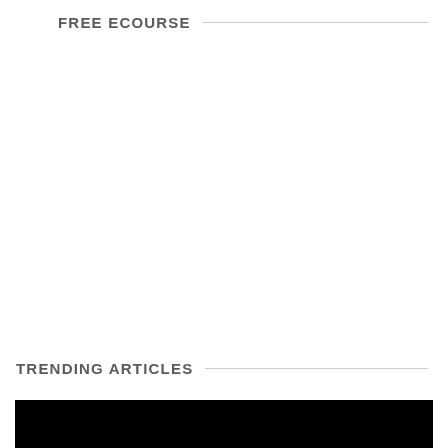FREE ECOURSE
TRENDING ARTICLES
[Figure (photo): Black image block at bottom of page]